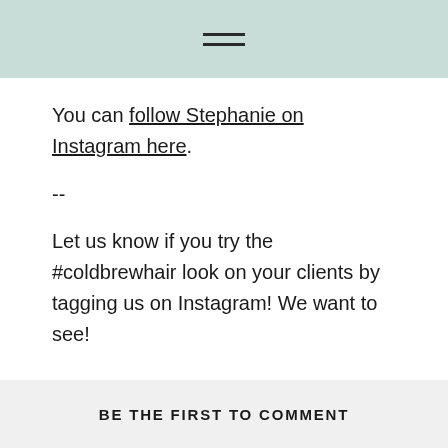≡
You can follow Stephanie on Instagram here.
--
Let us know if you try the #coldbrewhair look on your clients by tagging us on Instagram! We want to see!
BE THE FIRST TO COMMENT